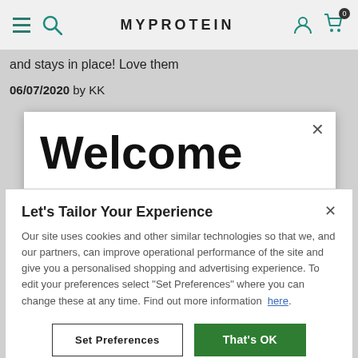MYPROTEIN
and stays in place! Love them
06/07/2020 by KK
Welcome
It looks like you are in the USA, would you like to
Let's Tailor Your Experience
Our site uses cookies and other similar technologies so that we, and our partners, can improve operational performance of the site and give you a personalised shopping and advertising experience. To edit your preferences select "Set Preferences" where you can change these at any time. Find out more information here.
Set Preferences
That's OK